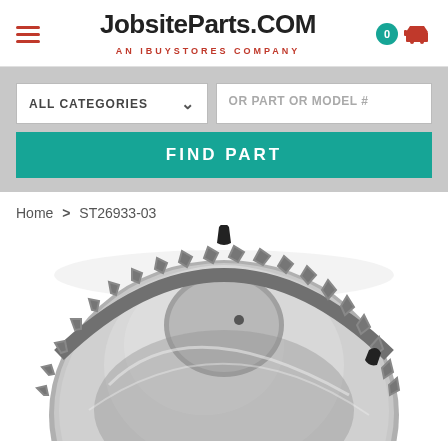JobsiteParts.COM AN IBUYSTORES COMPANY
ALL CATEGORIES
OR PART OR MODEL #
FIND PART
Home > ST26933-03
[Figure (photo): Flywheel ring gear part (ST26933-03) photographed from above, showing toothed outer ring and metallic center disc]